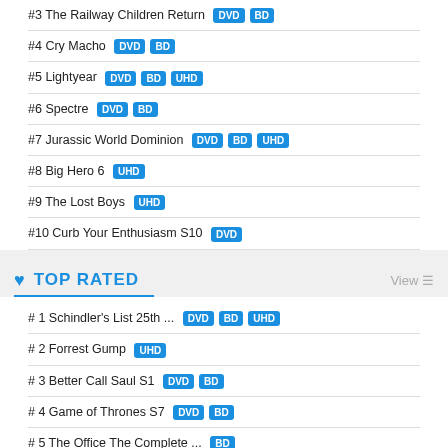#3 The Railway Children Return DVD BD
#4 Cry Macho DVD BD
#5 Lightyear DVD BD UHD
#6 Spectre DVD BD
#7 Jurassic World Dominion DVD BD UHD
#8 Big Hero 6 UHD
#9 The Lost Boys UHD
#10 Curb Your Enthusiasm S10 DVD
TOP RATED
# 1 Schindler's List 25th ... DVD BD UHD
# 2 Forrest Gump UHD
# 3 Better Call Saul S1 DVD BD
# 4 Game of Thrones S7 DVD BD
# 5 The Office The Complete ... BD
# 6 Top Gear The Burma Special DVD BD